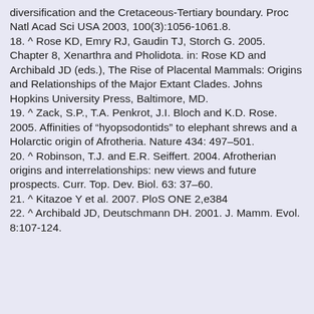diversification and the Cretaceous-Tertiary boundary. Proc Natl Acad Sci USA 2003, 100(3):1056-1061.8.
18. ^ Rose KD, Emry RJ, Gaudin TJ, Storch G. 2005. Chapter 8, Xenarthra and Pholidota. in: Rose KD and Archibald JD (eds.), The Rise of Placental Mammals: Origins and Relationships of the Major Extant Clades. Johns Hopkins University Press, Baltimore, MD.
19. ^ Zack, S.P., T.A. Penkrot, J.I. Bloch and K.D. Rose. 2005. Affinities of “hyopsodontids” to elephant shrews and a Holarctic origin of Afrotheria. Nature 434: 497–501.
20. ^ Robinson, T.J. and E.R. Seiffert. 2004. Afrotherian origins and interrelationships: new views and future prospects. Curr. Top. Dev. Biol. 63: 37–60.
21. ^ Kitazoe Y et al. 2007. PloS ONE 2,e384
22. ^ Archibald JD, Deutschmann DH. 2001. J. Mamm. Evol. 8:107-124.